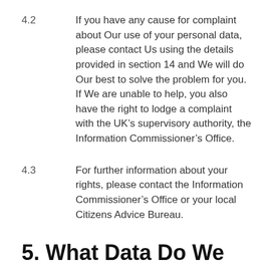4.2	If you have any cause for complaint about Our use of your personal data, please contact Us using the details provided in section 14 and We will do Our best to solve the problem for you. If We are unable to help, you also have the right to lodge a complaint with the UK’s supervisory authority, the Information Commissioner’s Office.
4.3	For further information about your rights, please contact the Information Commissioner’s Office or your local Citizens Advice Bureau.
5. What Data Do We Collect?